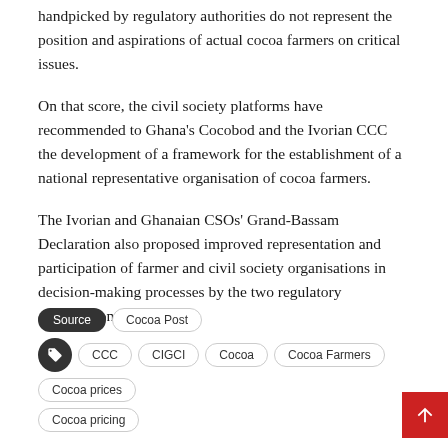handpicked by regulatory authorities do not represent the position and aspirations of actual cocoa farmers on critical issues.
On that score, the civil society platforms have recommended to Ghana's Cocobod and the Ivorian CCC the development of a framework for the establishment of a national representative organisation of cocoa farmers.
The Ivorian and Ghanaian CSOs' Grand-Bassam Declaration also proposed improved representation and participation of farmer and civil society organisations in decision-making processes by the two regulatory organisations.
Source  Cocoa Post
CCC  CIGCI  Cocoa  Cocoa Farmers  Cocoa prices  Cocoa pricing